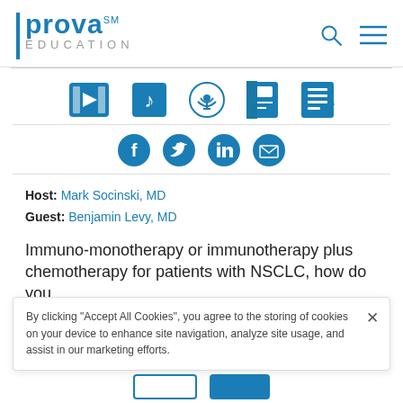[Figure (logo): Prova Education logo with blue vertical bar, bold blue 'prova' text with SM mark, and grey 'EDUCATION' text below]
[Figure (infographic): Media type icons: video (film strip play), audio (music note), podcast (wifi/microphone), slide (document with tab), notes (notepad)]
[Figure (infographic): Social sharing icons: Facebook, Twitter, LinkedIn, Email (circular blue icons)]
Host: Mark Socinski, MD
Guest: Benjamin Levy, MD
Immuno-monotherapy or immunotherapy plus chemotherapy for patients with NSCLC, how do you
By clicking "Accept All Cookies", you agree to the storing of cookies on your device to enhance site navigation, analyze site usage, and assist in our marketing efforts.